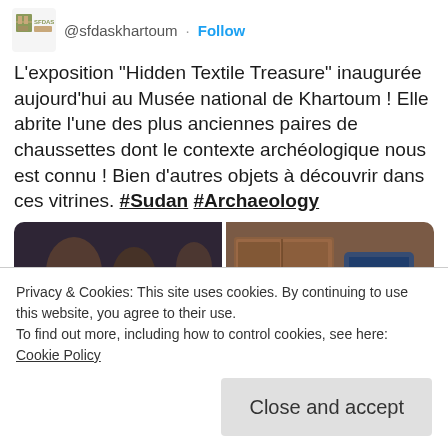[Figure (screenshot): Twitter/social media post screenshot showing account logo for @sfdaskhartoum with Follow button]
L'exposition "Hidden Textile Treasure" inaugurée aujourd'hui au Musée national de Khartoum ! Elle abrite l'une des plus anciennes paires de chaussettes dont le contexte archéologique nous est connu ! Bien d'autres objets à découvrir dans ces vitrines. #Sudan #Archaeology
[Figure (photo): Two side-by-side museum photos: left shows ancient knitted blue socks in a display case with pottery in background; right shows a wooden museum display cabinet with label]
Privacy & Cookies: This site uses cookies. By continuing to use this website, you agree to their use.
To find out more, including how to control cookies, see here:
Cookie Policy
Close and accept